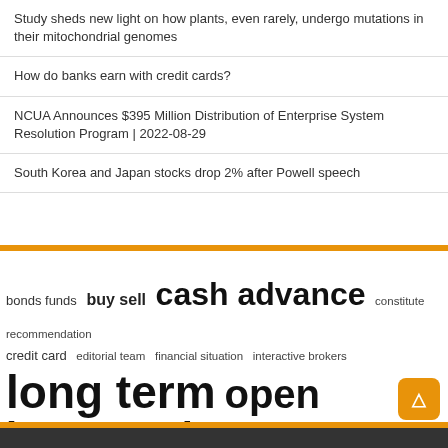Study sheds new light on how plants, even rarely, undergo mutations in their mitochondrial genomes
How do banks earn with credit cards?
NCUA Announces $395 Million Distribution of Enterprise System Resolution Program | 2022-08-29
South Korea and Japan stocks drop 2% after Powell speech
[Figure (infographic): Tag cloud with financial terms in varying sizes: bonds funds, buy sell, cash advance (large), constitute recommendation, credit card, editorial team, financial situation, interactive brokers, long term (very large), open interest (very large), short term (very large), st article, twelve months, united states (large), wall st]